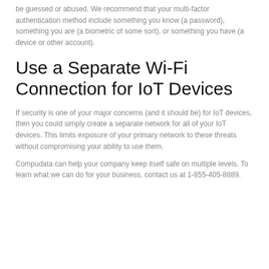be guessed or abused. We recommend that your multi-factor authentication method include something you know (a password), something you are (a biometric of some sort), or something you have (a device or other account).
Use a Separate Wi-Fi Connection for IoT Devices
If security is one of your major concerns (and it should be) for IoT devices, then you could simply create a separate network for all of your IoT devices. This limits exposure of your primary network to these threats without compromising your ability to use them.
Compudata can help your company keep itself safe on multiple levels. To learn what we can do for your business, contact us at 1-855-405-8889.